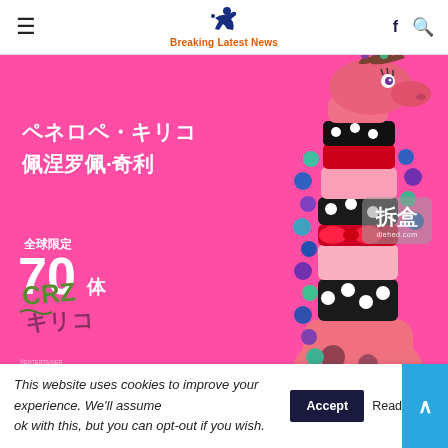Breaking Latest News
[Figure (photo): Pink giraffe art toy figure with decorative beads, bows, polka dots on a bright pink background. Japanese text reads ペネロペ・キリコ / 佩涅罗佩·奇利, 全球限定 70体. 拆盒 badge visible. Crazy logo bottom left.]
This website uses cookies to improve your experience. We'll assume ok with this, but you can opt-out if you wish. Accept Read More